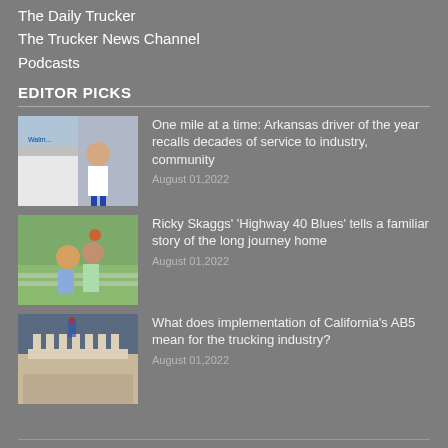The Daily Trucker
The Trucker News Channel
Podcasts
EDITOR PICKS
[Figure (photo): Man in white shirt next to a Walmart truck]
One mile at a time: Arkansas driver of the year recalls decades of service to industry, community
August 01,2022
[Figure (photo): Two people hitchhiking on a highway]
Ricky Skaggs' ‘Highway 40 Blues’ tells a familiar story of the long journey home
August 01,2022
[Figure (photo): Classical building with columns under dramatic sky]
What does implementation of California’s AB5 mean for the trucking industry?
August 01,2022